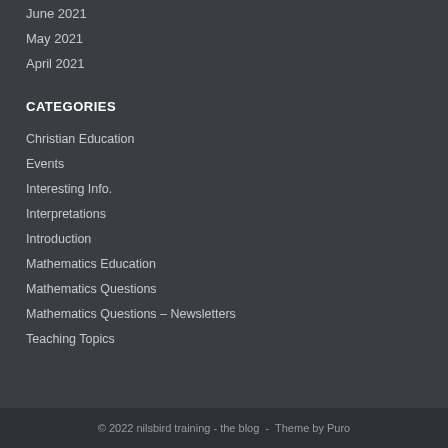June 2021
May 2021
April 2021
CATEGORIES
Christian Education
Events
Interesting Info.
Interpretations
Introduction
Mathematics Education
Mathematics Questions
Mathematics Questions – Newsletters
Teaching Topics
© 2022 nilsbird training - the blog  -  Theme by Puro